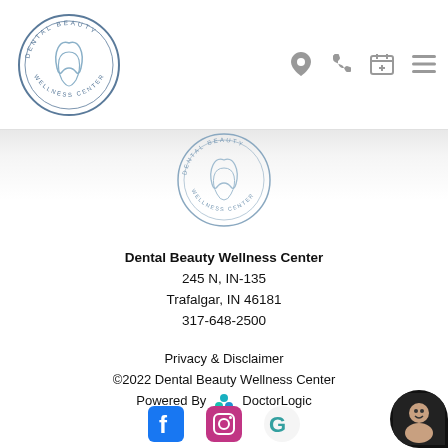[Figure (logo): Dental Beauty Wellness Center circular logo with tooth and face silhouette, top left of header]
[Figure (infographic): Navigation icons: location pin, phone, calendar-plus, hamburger menu — top right of header]
[Figure (logo): Dental Beauty Wellness Center circular logo centered in footer area]
Dental Beauty Wellness Center
245 N, IN-135
Trafalgar, IN 46181
317-648-2500
Privacy & Disclaimer
©2022 Dental Beauty Wellness Center
Powered By  DoctorLogic
[Figure (infographic): Social media icons: Facebook (blue), Instagram (pink/gradient), Google (teal/blue G)]